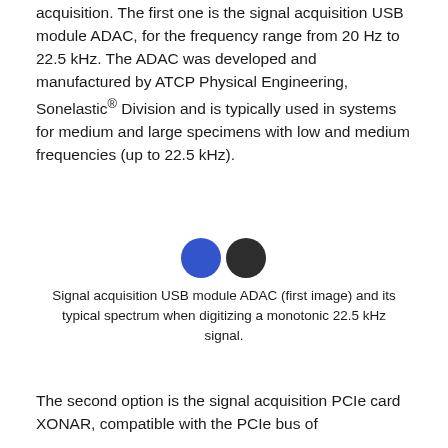acquisition. The first one is the signal acquisition USB module ADAC, for the frequency range from 20 Hz to 22.5 kHz. The ADAC was developed and manufactured by ATCP Physical Engineering, Sonelastic® Division and is typically used in systems for medium and large specimens with low and medium frequencies (up to 22.5 kHz).
[Figure (other): Two circular icons side by side: a blue filled circle and a dark/black filled circle, representing image placeholders for the ADAC module and its spectrum.]
Signal acquisition USB module ADAC (first image) and its typical spectrum when digitizing a monotonic 22.5 kHz signal.
The second option is the signal acquisition PCIe card XONAR, compatible with the PCIe bus of